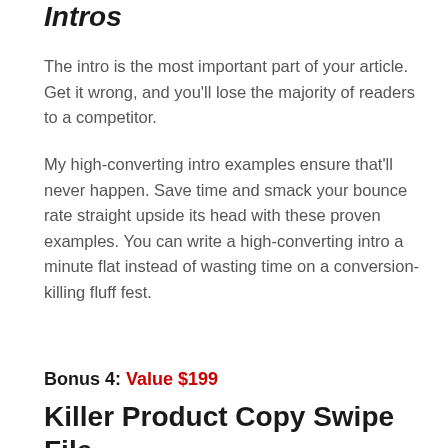Intros
The intro is the most important part of your article. Get it wrong, and you'll lose the majority of readers to a competitor.
My high-converting intro examples ensure that'll never happen. Save time and smack your bounce rate straight upside its head with these proven examples. You can write a high-converting intro a minute flat instead of wasting time on a conversion-killing fluff fest.
Bonus 4: Value $199
Killer Product Copy Swipe File